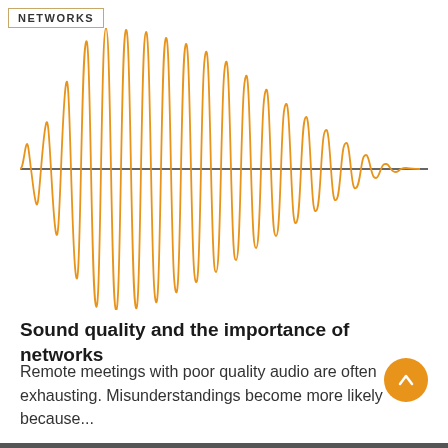NETWORKS
[Figure (continuous-plot): Audio waveform visualization showing an orange sinusoidal wave with varying amplitude, centered on a horizontal black baseline. The wave grows in amplitude toward the middle-right and diminishes toward the right edge.]
Sound quality and the importance of networks
Remote meetings with poor quality audio are often exhausting. Misunderstandings become more likely because...